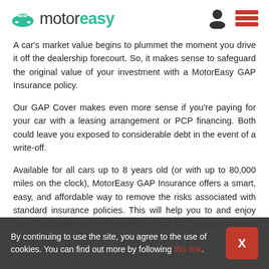motoreasy
A car's market value begins to plummet the moment you drive it off the dealership forecourt. So, it makes sense to safeguard the original value of your investment with a MotorEasy GAP Insurance policy.
Our GAP Cover makes even more sense if you're paying for your car with a leasing arrangement or PCP financing. Both could leave you exposed to considerable debt in the event of a write-off.
Available for all cars up to 8 years old (or with up to 80,000 miles on the clock), MotorEasy GAP Insurance offers a smart, easy, and affordable way to remove the risks associated with standard insurance policies. This will help you to and enjoy your Ford safe in the knowledge that it's comprehensively protected.
By continuing to use the site, you agree to the use of cookies. You can find out more by following this link.